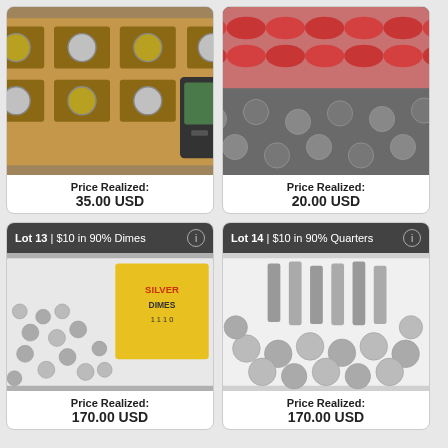[Figure (photo): Coin collection in wooden display case with labeled coins]
Price Realized: 35.00 USD
[Figure (photo): Rolls of coins stacked together]
Price Realized: 20.00 USD
Lot 13 | $10 in 90% Dimes
[Figure (photo): Silver dimes scattered in a white tray with a yellow card labeled Silver Dimes]
Price Realized: 170.00 USD
Lot 14 | $10 in 90% Quarters
[Figure (photo): Silver quarters piled in a white container]
Price Realized: 170.00 USD